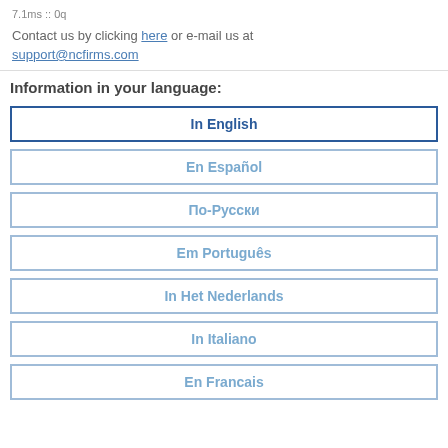7.1ms :: 0q
Contact us by clicking here or e-mail us at support@ncfirms.com
Information in your language:
In English
En Español
По-Русски
Em Português
In Het Nederlands
In Italiano
En Francais